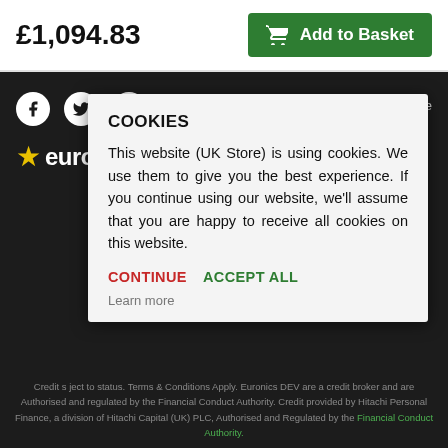£1,094.83
Add to Basket
[Figure (screenshot): Dark website footer background with social media icons (Facebook, Twitter, Instagram), Secure text, Euronics logo with star, and partly visible credit text]
COOKIES
This website (UK Store) is using cookies. We use them to give you the best experience. If you continue using our website, we'll assume that you are happy to receive all cookies on this website.
CONTINUE  ACCEPT ALL
Learn more